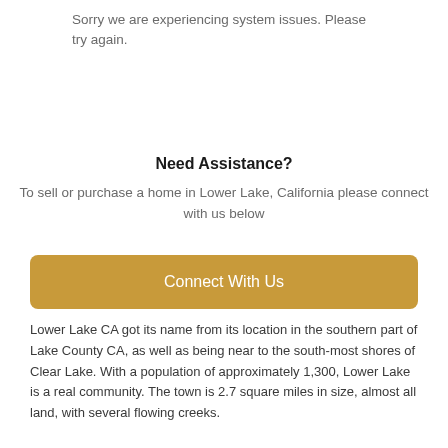Sorry we are experiencing system issues. Please try again.
Need Assistance?
To sell or purchase a home in Lower Lake, California please connect with us below
[Figure (other): Golden/amber colored button with white text reading 'Connect With Us']
Lower Lake CA got its name from its location in the southern part of Lake County CA, as well as being near to the south-most shores of Clear Lake. With a population of approximately 1,300, Lower Lake is a real community. The town is 2.7 square miles in size, almost all land, with several flowing creeks.